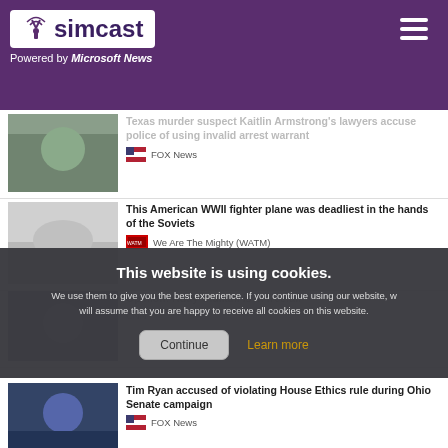simcast — Powered by Microsoft News
Texas murder suspect Kaitlin Armstrong's lawyers accuse police of using invalid arrest warrant — FOX News
This American WWII fighter plane was deadliest in the hands of the Soviets — We Are The Mighty (WATM)
Opinion: Rudy Giuliani is in freefall — CNN
This website is using cookies. We use them to give you the best experience. If you continue using our website, we will assume that you are happy to receive all cookies on this website.
Continue
Learn more
Tim Ryan accused of violating House Ethics rule during Ohio Senate campaign — FOX News